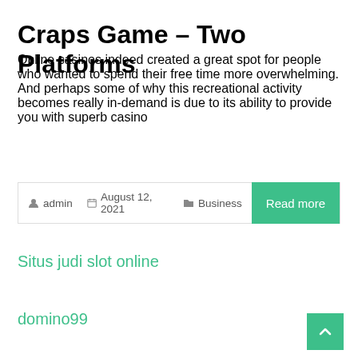Craps Game – Two Platforms
Online casinos indeed created a great spot for people who wanted to spend their free time more overwhelming. And perhaps some of why this recreational activity becomes really in-demand is due to its ability to provide you with superb casino
admin  August 12, 2021  Business  Read more
Situs judi slot online
domino99